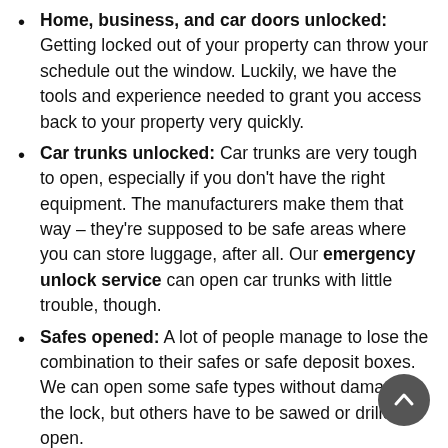Home, business, and car doors unlocked: Getting locked out of your property can throw your schedule out the window. Luckily, we have the tools and experience needed to grant you access back to your property very quickly.
Car trunks unlocked: Car trunks are very tough to open, especially if you don't have the right equipment. The manufacturers make them that way – they're supposed to be safe areas where you can store luggage, after all. Our emergency unlock service can open car trunks with little trouble, though.
Safes opened: A lot of people manage to lose the combination to their safes or safe deposit boxes. We can open some safe types without damaging the lock, but others have to be sawed or drilled open.
File cabinets opened: Lost the key to the file cabinet? Our locksmiths will pick or drill the lock open. We can also replace it or rekey it later.
Mailboxes opened: Can't get your mailbox open?